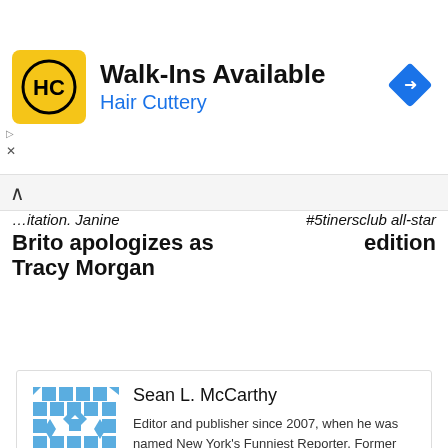[Figure (logo): Hair Cuttery advertisement banner with HC logo and blue direction arrow icon]
…itation. Janine Brito apologizes as Tracy Morgan
#5tinersclub all-star edition
[Figure (illustration): Blue geometric/mosaic pattern avatar for Sean L. McCarthy]
Sean L. McCarthy
Editor and publisher since 2007, when he was named New York's Funniest Reporter. Former newspaper reporter at the New York Daily News, Boston Herald and smaller dailies and…